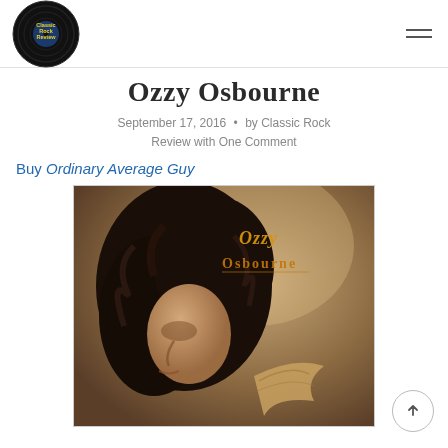Classic Rock Review
Ozzy Osbourne
September 17, 2016 · by Classic Rock Review with One Comment
Buy Ordinary Average Guy
[Figure (photo): Album cover for Ozzy Osbourne's 'No More Tears' or similar album — a man with long dark curly hair in profile with wings, and the Ozzy Osbourne logo in gold text on a sepia-toned background]